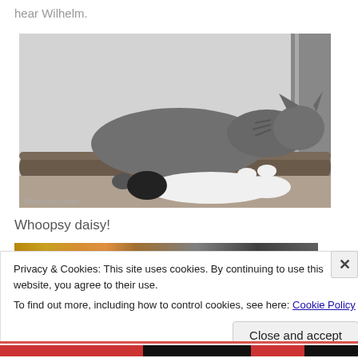hear Wilhelm.
[Figure (photo): Black and white photo of two cats lying on a wooden surface/fence, one tabby cat draped over a log and one black and white cat lying below. Watermark reads 'Silenciosa-mente'.]
Whoopsy daisy!
[Figure (photo): Partially visible image strip with warm brown/orange tones at the top of the second image, mostly obscured by the cookie banner.]
Privacy & Cookies: This site uses cookies. By continuing to use this website, you agree to their use.
To find out more, including how to control cookies, see here: Cookie Policy
Close and accept